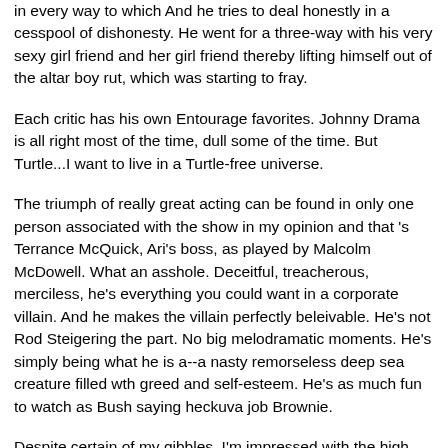in every way to which And he tries to deal honestly in a cesspool of dishonesty. He went for a three-way with his very sexy girl friend and her girl friend thereby lifting himself out of the altar boy rut, which was starting to fray.
Each critic has his own Entourage favorites. Johnny Drama is all right most of the time, dull some of the time. But Turtle...I want to live in a Turtle-free universe.
The triumph of really great acting can be found in only one person associated with the show in my opinion and that 's Terrance McQuick, Ari's boss, as played by Malcolm McDowell. What an asshole. Deceitful, treacherous, merciless, he's everything you could want in a corporate villain. And he makes the villain perfectly beleivable. He's not Rod Steigering the part. No big melodramatic moments. He's simply being what he is a--a nasty remorseless deep sea creature filled wth greed and self-esteem. He's as much fun to watch as Bush saying heckuva job Brownie.
Despite certain of my qibbles, I'm impressed with the high level of writing and acting that the show has maintained over the seasons. I hope they've got at least one more good one